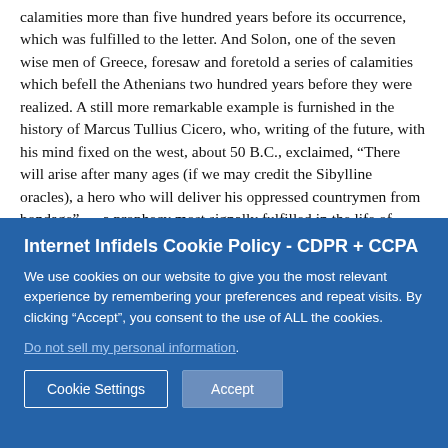calamities more than five hundred years before its occurrence, which was fulfilled to the letter. And Solon, one of the seven wise men of Greece, foresaw and foretold a series of calamities which befell the Athenians two hundred years before they were realized. A still more remarkable example is furnished in the history of Marcus Tullius Cicero, who, writing of the future, with his mind fixed on the west, about 50 B.C., exclaimed, “There will arise after many ages (if we may credit the Sibylline oracles), a hero who will deliver his oppressed countrymen from bondage” — a prophecy most signally fulfilled in the life of General Washington. Many other examples of heathen prophecy and their fulfillment might be cited, if we had space for them.

Second. The history of modern spiritualism furnishes many
Internet Infidels Cookie Policy - CDPR + CCPA
We use cookies on our website to give you the most relevant experience by remembering your preferences and repeat visits. By clicking “Accept”, you consent to the use of ALL the cookies.
Do not sell my personal information.